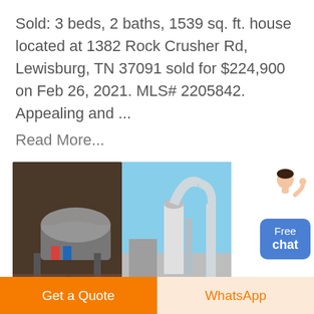Sold: 3 beds, 2 baths, 1539 sq. ft. house located at 1382 Rock Crusher Rd, Lewisburg, TN 37091 sold for $224,900 on Feb 26, 2021. MLS# 2205842. Appealing and ...
Read More...
[Figure (photo): Two photos side by side: left shows industrial rock crusher machinery with metal drum, right shows industrial milling/grinding equipment with pipes and silos against blue sky.]
Amazing Homemade Inventions 2018 #21 - Homemade Rock Crusher
Get a Quote
WhatsApp